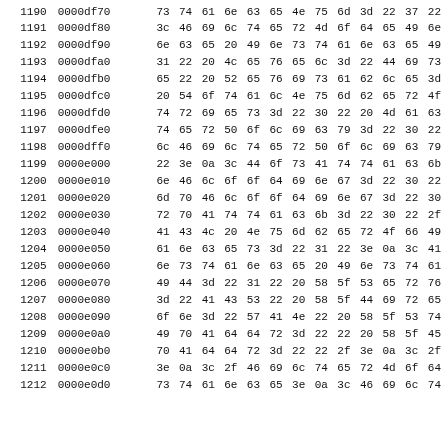| Line | Address | b0 | b1 | b2 | b3 | b4 | b5 | b6 | b7 | b8 | b9 | b10 | b11 |
| --- | --- | --- | --- | --- | --- | --- | --- | --- | --- | --- | --- | --- | --- |
| 1190 | 0000df70 | 73 | 74 | 61 | 6e | 63 | 65 | 4e | 75 | 6d | 3d | 22 | 37 | 22 |
| 1191 | 0000df80 | 3c | 46 | 69 | 6c | 74 | 65 | 72 | 4d | 6f | 64 | 65 | 49 | 6e |
| 1192 | 0000df90 | 6e | 63 | 65 | 20 | 49 | 6e | 73 | 74 | 61 | 6e | 63 | 65 | 49 |
| 1193 | 0000dfa0 | 31 | 22 | 20 | 4c | 65 | 76 | 65 | 6c | 3d | 22 | 44 | 69 | 73 |
| 1194 | 0000dfb0 | 65 | 22 | 20 | 52 | 65 | 76 | 69 | 73 | 61 | 62 | 6c | 65 | 3d |
| 1195 | 0000dfc0 | 20 | 54 | 6f | 74 | 61 | 6c | 4e | 75 | 6d | 62 | 65 | 72 | 4f |
| 1196 | 0000dfd0 | 74 | 72 | 69 | 65 | 73 | 3d | 22 | 30 | 22 | 20 | 4d | 61 | 63 |
| 1197 | 0000dfe0 | 74 | 65 | 72 | 50 | 6f | 6c | 69 | 63 | 79 | 3d | 22 | 30 | 22 |
| 1198 | 0000dff0 | 6c | 46 | 69 | 6c | 74 | 65 | 72 | 50 | 6f | 6c | 69 | 63 | 79 |
| 1199 | 0000e000 | 22 | 3e | 0a | 3c | 44 | 6f | 73 | 41 | 74 | 74 | 61 | 63 | 6b |
| 1200 | 0000e010 | 6e | 46 | 6c | 6f | 6f | 64 | 69 | 6e | 67 | 3d | 22 | 30 | 22 |
| 1201 | 0000e020 | 6d | 70 | 46 | 6c | 6f | 6f | 64 | 69 | 6e | 67 | 3d | 22 | 30 |
| 1202 | 0000e030 | 72 | 70 | 41 | 74 | 74 | 61 | 63 | 6b | 3d | 22 | 30 | 22 | 2f |
| 1203 | 0000e040 | 41 | 43 | 4c | 20 | 4e | 75 | 6d | 62 | 65 | 72 | 4f | 66 | 49 |
| 1204 | 0000e050 | 61 | 6e | 63 | 65 | 73 | 3d | 22 | 31 | 22 | 3e | 0a | 3c | 41 |
| 1205 | 0000e060 | 6e | 73 | 74 | 61 | 6e | 63 | 65 | 20 | 49 | 6e | 73 | 74 | 61 |
| 1206 | 0000e070 | 49 | 44 | 3d | 22 | 31 | 22 | 20 | 58 | 5f | 53 | 65 | 72 | 76 |
| 1207 | 0000e080 | 3d | 22 | 41 | 43 | 53 | 22 | 20 | 58 | 5f | 44 | 69 | 72 | 65 |
| 1208 | 0000e090 | 6f | 6e | 3d | 22 | 57 | 41 | 4e | 22 | 20 | 58 | 5f | 53 | 74 |
| 1209 | 0000e0a0 | 49 | 70 | 41 | 64 | 64 | 72 | 3d | 22 | 22 | 20 | 58 | 5f | 45 |
| 1210 | 0000e0b0 | 70 | 41 | 64 | 64 | 72 | 3d | 22 | 22 | 2f | 3e | 0a | 3c | 2f |
| 1211 | 0000e0c0 | 3e | 0a | 3c | 2f | 46 | 69 | 6c | 74 | 65 | 72 | 4d | 6f | 64 |
| 1212 | 0000e0d0 | 73 | 74 | 61 | 6e | 63 | 65 | 3e | 0a | 3c | 46 | 69 | 6c | 74 |